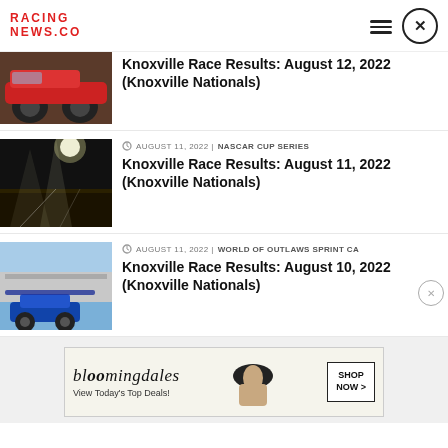RACING NEWS.CO
Knoxville Race Results: August 12, 2022 (Knoxville Nationals)
AUGUST 11, 2022 | NASCAR CUP SERIES
Knoxville Race Results: August 11, 2022 (Knoxville Nationals)
AUGUST 11, 2022 | WORLD OF OUTLAWS SPRINT CA...
Knoxville Race Results: August 10, 2022 (Knoxville Nationals)
[Figure (photo): Bloomingdale's advertisement banner with woman in hat and 'View Today's Top Deals!' text and SHOP NOW button]